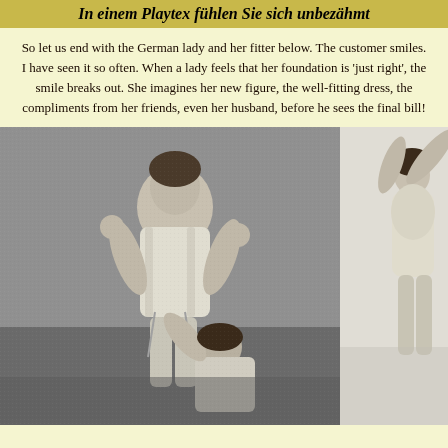In einem Playtex fühlen Sie sich unbezähmt
So let us end with the German lady and her fitter below. The customer smiles. I have seen it so often. When a lady feels that her foundation is 'just right', the smile breaks out. She imagines her new figure, the well-fitting dress, the compliments from her friends, even her husband, before he sees the final bill!
[Figure (photo): Black and white vintage photograph of a woman being fitted in a Playtex foundation garment/girdle by a kneeling fitter]
[Figure (photo): Black and white vintage photograph of a woman in a foundation garment with arms raised]